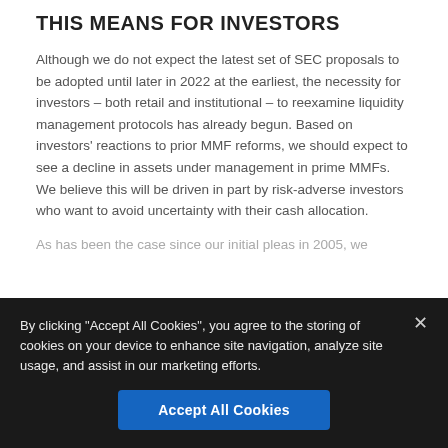THIS MEANS FOR INVESTORS
Although we do not expect the latest set of SEC proposals to be adopted until later in 2022 at the earliest, the necessity for investors – both retail and institutional – to reexamine liquidity management protocols has already begun. Based on investors' reactions to prior MMF reforms, we should expect to see a decline in assets under management in prime MMFs. We believe this will be driven in part by risk-adverse investors who want to avoid uncertainty with their cash allocation.
As has been the case since our initial pleas in 2005, we
By clicking "Accept All Cookies", you agree to the storing of cookies on your device to enhance site navigation, analyze site usage, and assist in our marketing efforts.
Accept All Cookies